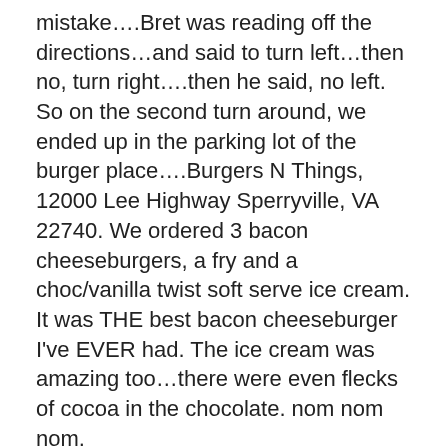mistake….Bret was reading off the directions…and said to turn left…then no, turn right….then he said, no left. So on the second turn around, we ended up in the parking lot of the burger place….Burgers N Things, 12000 Lee Highway Sperryville, VA 22740. We ordered 3 bacon cheeseburgers, a fry and a choc/vanilla twist soft serve ice cream. It was THE best bacon cheeseburger I've EVER had. The ice cream was amazing too…there were even flecks of cocoa in the chocolate. nom nom nom.
We got back on the road and made it to skyline drive and then stopped by one of the visitor centers before starting our hike in. We got some fudge and root beer to celebrate at the campsite.
Alright, fast forward to us on the trail for about 20 minutes. I mentioned that Bret should call work to see when he